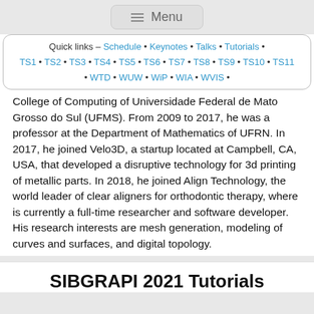Menu
Quick links – Schedule • Keynotes • Talks • Tutorials • TS1 • TS2 • TS3 • TS4 • TS5 • TS6 • TS7 • TS8 • TS9 • TS10 • TS11 • WTD • WUW • WiP • WIA • WVIS •
College of Computing of Universidade Federal de Mato Grosso do Sul (UFMS). From 2009 to 2017, he was a professor at the Department of Mathematics of UFRN. In 2017, he joined Velo3D, a startup located at Campbell, CA, USA, that developed a disruptive technology for 3d printing of metallic parts. In 2018, he joined Align Technology, the world leader of clear aligners for orthodontic therapy, where is currently a full-time researcher and software developer. His research interests are mesh generation, modeling of curves and surfaces, and digital topology.
SIBGRAPI 2021 Tutorials